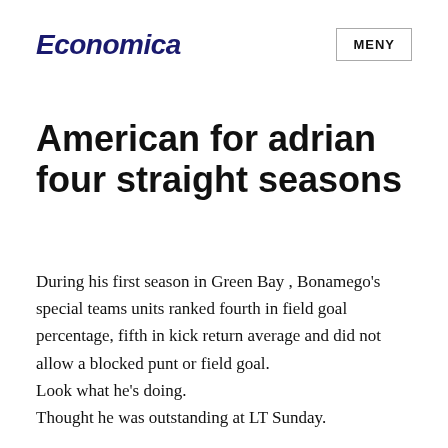Economica  MENY
American for adrian four straight seasons
During his first season in Green Bay , Bonamego's special teams units ranked fourth in field goal percentage, fifth in kick return average and did not allow a blocked punt or field goal.
Look what he's doing.
Thought he was outstanding at LT Sunday.